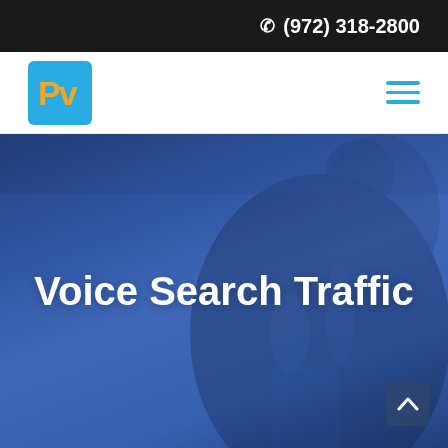(972) 318-2800
[Figure (logo): PV logo in blue square with orange letters]
[Figure (photo): Hero banner with blue overlay showing a person using a smartphone, with the title 'Voice Search Traffic' overlaid in white bold text]
Voice Search Traffic